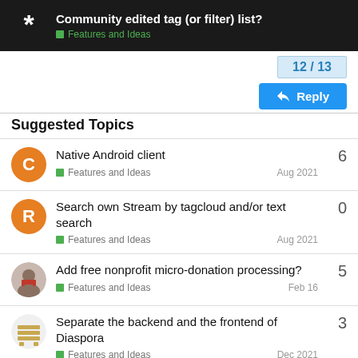Community edited tag (or filter) list? — Features and Ideas
12 / 13
Reply
Suggested Topics
Native Android client — Features and Ideas — Aug 2021 — 6
Search own Stream by tagcloud and/or text search — Features and Ideas — Aug 2021 — 0
Add free nonprofit micro-donation processing? — Features and Ideas — Feb 16 — 5
Separate the backend and the frontend of Diaspora — Features and Ideas — Dec 2021 — 3